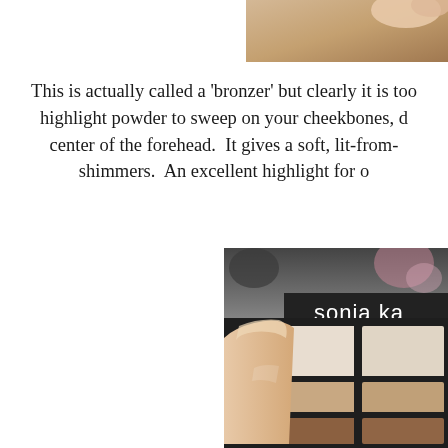[Figure (photo): Partial photo at top right of page, showing a hand holding something, cropped at top edge]
This is actually called a 'bronzer' but clearly it is too highlight powder to sweep on your cheekbones, d center of the forehead.  It gives a soft, lit-from- shimmers.  An excellent highlight for o
[Figure (photo): Photo of a Sonia Kashuk makeup palette being held by a hand, showing a grid of eyeshadow swatches in neutral/tan/brown tones in a black case with 'sonia ka' visible text (partially cropped)]